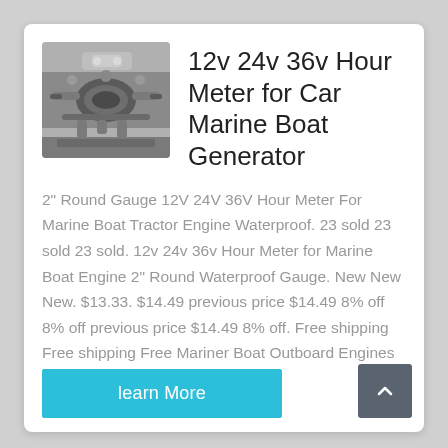[Figure (photo): Underside mechanical view of a vehicle or marine engine, showing metal components, exhaust, and mechanical parts in grayscale.]
12v 24v 36v Hour Meter for Car Marine Boat Generator
2" Round Gauge 12V 24V 36V Hour Meter For Marine Boat Tractor Engine Waterproof. 23 sold 23 sold 23 sold. 12v 24v 36v Hour Meter for Marine Boat Engine 2" Round Waterproof Gauge. New New New. $13.33. $14.49 previous price $14.49 8% off 8% off previous price $14.49 8% off. Free shipping Free shipping Free Mariner Boat Outboard Engines
learn More